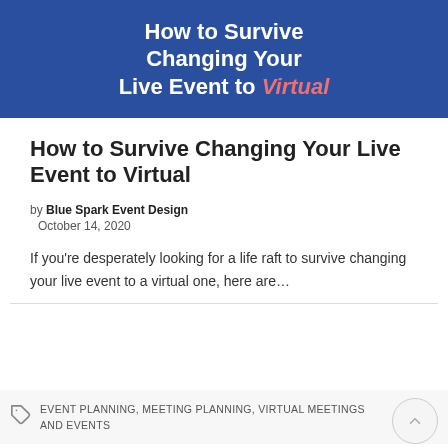[Figure (illustration): Banner image with dark blue background showing text 'How to Survive Changing Your Live Event to Virtual' with 'Virtual' in italic salmon/coral color]
How to Survive Changing Your Live Event to Virtual
by Blue Spark Event Design
October 14, 2020
If you're desperately looking for a life raft to survive changing your live event to a virtual one, here are…
EVENT PLANNING, MEETING PLANNING, VIRTUAL MEETINGS AND EVENTS